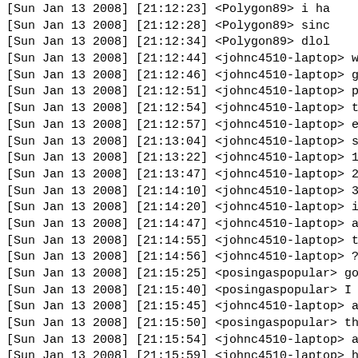[Sun Jan 13 2008] [21:12:23] <Polygon89> i ha
[Sun Jan 13 2008] [21:12:28] <Polygon89> sinc
[Sun Jan 13 2008] [21:12:34] <Polygon89> dlol
[Sun Jan 13 2008] [21:12:44] <johnc4510-laptop> we n
[Sun Jan 13 2008] [21:12:46] <johnc4510-laptop> goal
[Sun Jan 13 2008] [21:12:51] <johnc4510-laptop> proj
[Sun Jan 13 2008] [21:12:54] <johnc4510-laptop> to c
[Sun Jan 13 2008] [21:12:57] <johnc4510-laptop> etc
[Sun Jan 13 2008] [21:13:04] <johnc4510-laptop> so
[Sun Jan 13 2008] [21:13:22] <johnc4510-laptop> 1. W
[Sun Jan 13 2008] [21:13:47] <johnc4510-laptop> 2. W
[Sun Jan 13 2008] [21:14:10] <johnc4510-laptop> 3. W
[Sun Jan 13 2008] [21:14:20] <johnc4510-laptop> incl
[Sun Jan 13 2008] [21:14:47] <johnc4510-laptop> anyo
[Sun Jan 13 2008] [21:14:55] <johnc4510-laptop> to h
[Sun Jan 13 2008] [21:14:56] <johnc4510-laptop> ?
[Sun Jan 13 2008] [21:15:25] <posingaspopular> go t
[Sun Jan 13 2008] [21:15:40] <posingaspopular> I su
[Sun Jan 13 2008] [21:15:45] <johnc4510-laptop> ah, 
[Sun Jan 13 2008] [21:15:50] <posingaspopular> the 
[Sun Jan 13 2008] [21:15:54] <johnc4510-laptop> ah
[Sun Jan 13 2008] [21:15:59] <johnc4510-laptop> have
[Sun Jan 13 2008] [21:16:12] <johnc4510-laptop> to c